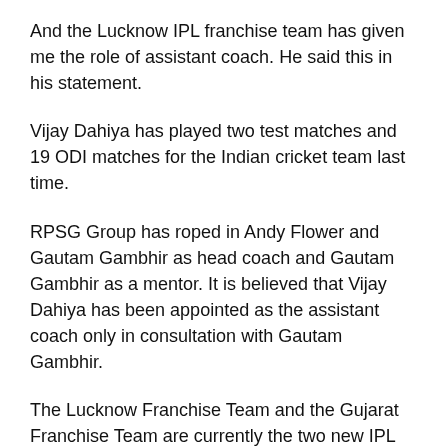And the Lucknow IPL franchise team has given me the role of assistant coach. He said this in his statement.
Vijay Dahiya has played two test matches and 19 ODI matches for the Indian cricket team last time.
RPSG Group has roped in Andy Flower and Gautam Gambhir as head coach and Gautam Gambhir as a mentor. It is believed that Vijay Dahiya has been appointed as the assistant coach only in consultation with Gautam Gambhir.
The Lucknow Franchise Team and the Gujarat Franchise Team are currently the two new IPL franchise teams that have decided to make their debut in the IPL 2022